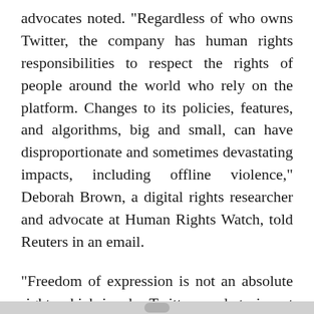advocates noted. "Regardless of who owns Twitter, the company has human rights responsibilities to respect the rights of people around the world who rely on the platform. Changes to its policies, features, and algorithms, big and small, can have disproportionate and sometimes devastating impacts, including offline violence," Deborah Brown, a digital rights researcher and advocate at Human Rights Watch, told Reuters in an email.
"Freedom of expression is not an absolute right, which is why Twitter needs to invest in efforts to keep its most vulnerable users safe on the platform," she added.
Twitter did not immediately respond to a request for